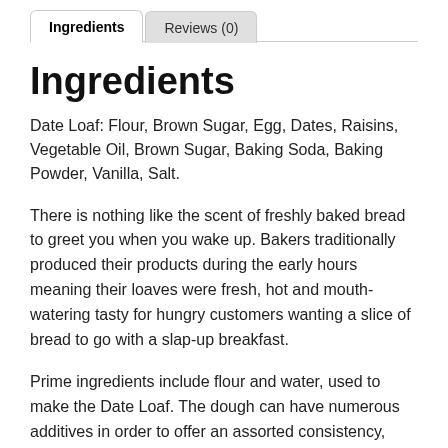Ingredients | Reviews (0)
Ingredients
Date Loaf: Flour, Brown Sugar, Egg, Dates, Raisins, Vegetable Oil, Brown Sugar, Baking Soda, Baking Powder, Vanilla, Salt.
There is nothing like the scent of freshly baked bread to greet you when you wake up. Bakers traditionally produced their products during the early hours meaning their loaves were fresh, hot and mouth-watering tasty for hungry customers wanting a slice of bread to go with a slap-up breakfast.
Prime ingredients include flour and water, used to make the Date Loaf. The dough can have numerous additives in order to offer an assorted consistency, flavours and healthy preferences. Additives may include yeast, fat, salt, baking powder, fruit, onions or milk, or any assorted additives. Y...